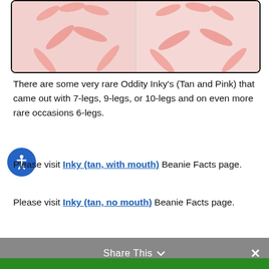[Figure (photo): Close-up photo of pink starfish legs/tentacles on white background, split into two panels]
There are some very rare Oddity Inky's (Tan and Pink) that came out with 7-legs, 9-legs, or 10-legs and on even more rare occasions 6-legs.
Please visit Inky (tan, with mouth) Beanie Facts page.
Please visit Inky (tan, no mouth) Beanie Facts page.
Please visit Inky (pink, with mouth) Beanie Facts page.
Share This ∨  ×